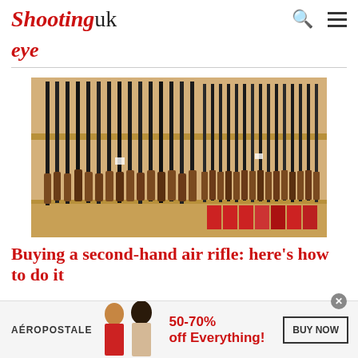Shootinguk
eye
[Figure (photo): A gun shop display showing rows of rifles and shotguns arranged vertically in wooden wall racks, with ammunition boxes on lower shelves.]
Buying a second-hand air rifle: here’s how to do it
AÉROPOSTALE   50-70% off Everything!   BUY NOW